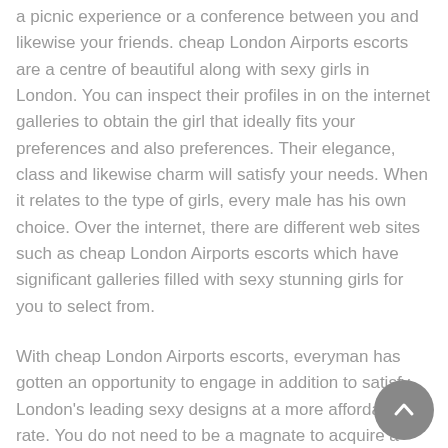a picnic experience or a conference between you and likewise your friends. cheap London Airports escorts are a centre of beautiful along with sexy girls in London. You can inspect their profiles in on the internet galleries to obtain the girl that ideally fits your preferences and also preferences. Their elegance, class and likewise charm will satisfy your needs. When it relates to the type of girls, every male has his own choice. Over the internet, there are different web sites such as cheap London Airports escorts which have significant galleries filled with sexy stunning girls for you to select from.
With cheap London Airports escorts, everyman has gotten an opportunity to engage in addition to satisfy London's leading sexy designs at a more affordable rate. You do not need to be a magnate to acquire a sensation and also the sensation brought by these sensational angels. If you are that shy guy